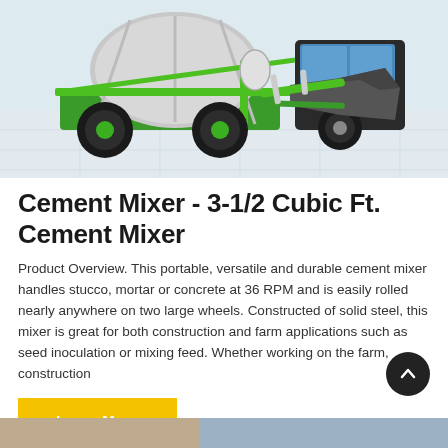[Figure (photo): Green self-loading concrete/cement mixer machine with large black tires and a front bucket/scoop, on a light grey industrial floor background.]
Cement Mixer - 3-1/2 Cubic Ft. Cement Mixer
Product Overview. This portable, versatile and durable cement mixer handles stucco, mortar or concrete at 36 RPM and is easily rolled nearly anywhere on two large wheels. Constructed of solid steel, this mixer is great for both construction and farm applications such as seed inoculation or mixing feed. Whether working on the farm, construction
Learn More